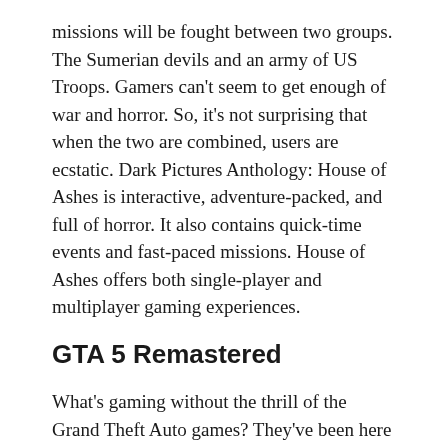missions will be fought between two groups. The Sumerian devils and an army of US Troops. Gamers can't seem to get enough of war and horror. So, it's not surprising that when the two are combined, users are ecstatic. Dark Pictures Anthology: House of Ashes is interactive, adventure-packed, and full of horror. It also contains quick-time events and fast-paced missions. House of Ashes offers both single-player and multiplayer gaming experiences.
GTA 5 Remastered
What's gaming without the thrill of the Grand Theft Auto games? They've been here since the beginning of the decade. A lot of the current gamers have spent their youth playing the various parts of